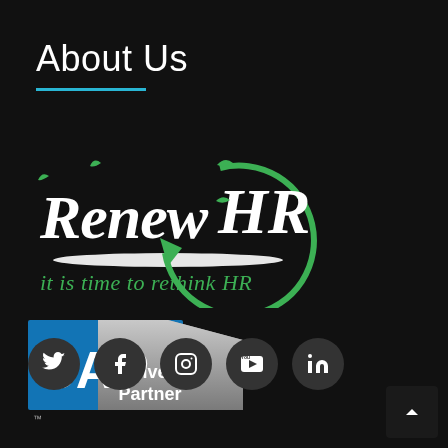About Us
[Figure (logo): RenewHR logo with green circular arrow and tagline 'it is time to rethink HR']
[Figure (logo): SAP Silver Partner badge]
[Figure (other): Social media icon buttons: Twitter, Facebook, Instagram, YouTube, LinkedIn]
[Figure (other): Back to top button with upward arrow]